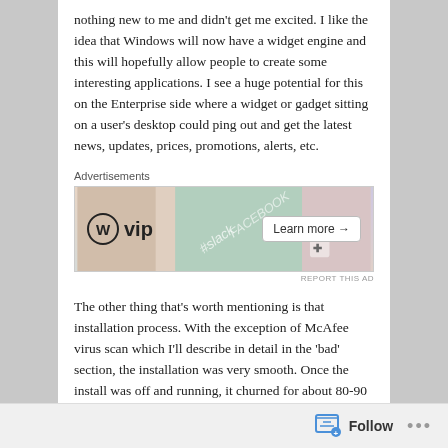nothing new to me and didn't get me excited. I like the idea that Windows will now have a widget engine and this will hopefully allow people to create some interesting applications. I see a huge potential for this on the Enterprise side where a widget or gadget sitting on a user's desktop could ping out and get the latest news, updates, prices, promotions, alerts, etc.
[Figure (other): Advertisement banner for WordPress VIP showing the WP VIP logo on left, decorative background with Slack and Facebook branding elements in the middle, and a 'Learn more →' button on the right.]
The other thing that's worth mentioning is that installation process. With the exception of McAfee virus scan which I'll describe in detail in the 'bad' section, the installation was very smooth. Once the install was off and running, it churned for about 80-90 minutes to get Vista installed and this included a couple of reboots.
Follow ...